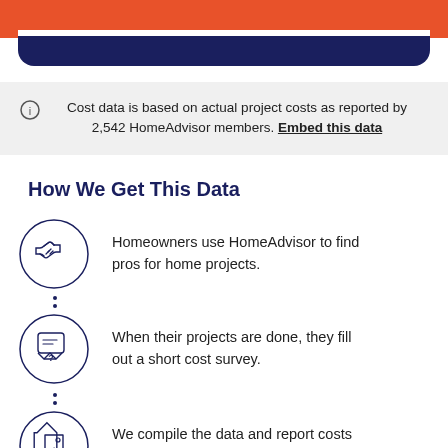[Figure (illustration): Top banner with orange/coral background and navy rounded element below, partially visible]
Cost data is based on actual project costs as reported by 2,542 HomeAdvisor members. Embed this data
How We Get This Data
Homeowners use HomeAdvisor to find pros for home projects.
When their projects are done, they fill out a short cost survey.
We compile the data and report costs back to you.